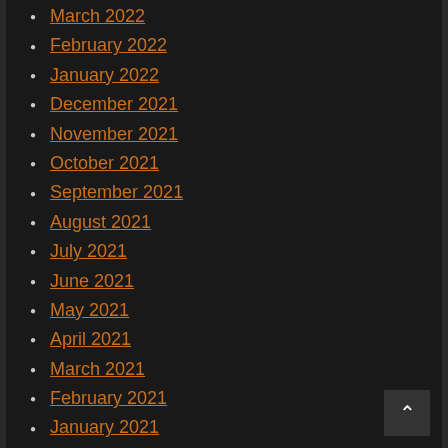March 2022
February 2022
January 2022
December 2021
November 2021
October 2021
September 2021
August 2021
July 2021
June 2021
May 2021
April 2021
March 2021
February 2021
January 2021
December 2020
November 2020
October 2020
September 2020
August 2020
July 2020
June 2020